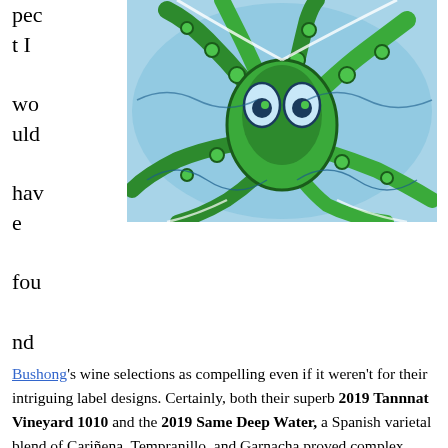pect I would have found
[Figure (illustration): Colorful psychedelic illustration of octopus tentacles in green, blue and white swirling patterns]
Bushong's wine selections as compelling even if it weren't for their intriguing label designs. Certainly, both their superb 2019 Tannnat Vineyard 1010 and the 2019 Same Deep Water, a Spanish varietal blend of Cariñena, Tempranillo, and Garnacha proved complex wines that could overshadow even the blandest packaging
Similarly, Karin Langer's Bolt To Wines matched the sheer excellence of her 2019 Chardonnay Sta. Rita